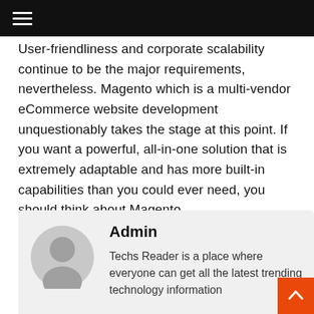≡ (hamburger menu)
User-friendliness and corporate scalability continue to be the major requirements, nevertheless. Magento which is a multi-vendor eCommerce website development unquestionably takes the stage at this point. If you want a powerful, all-in-one solution that is extremely adaptable and has more built-in capabilities than you could ever need, you should think about Magento.
Admin
Techs Reader is a place where everyone can get all the latest trending technology information